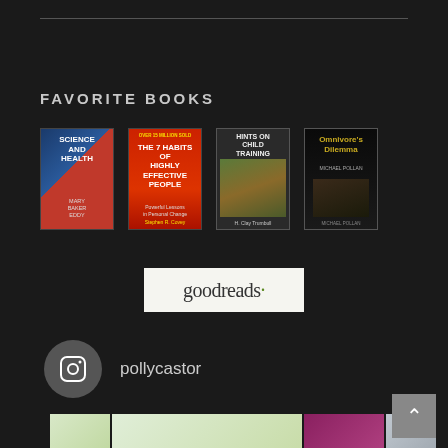FAVORITE BOOKS
[Figure (photo): Four book covers displayed in a row: Science and Health by Mary Baker Eddy, The 7 Habits of Highly Effective People by Stephen R. Covey, Hints on Child Training, and The Omnivore's Dilemma by Michael Pollan]
[Figure (logo): Goodreads logo badge — white/cream rectangle with the word 'goodreads' in serif font with a small apostrophe]
pollycastor
[Figure (photo): Instagram profile widget showing Instagram icon and handle pollycastor, with photo strip below showing flowers and book spines]